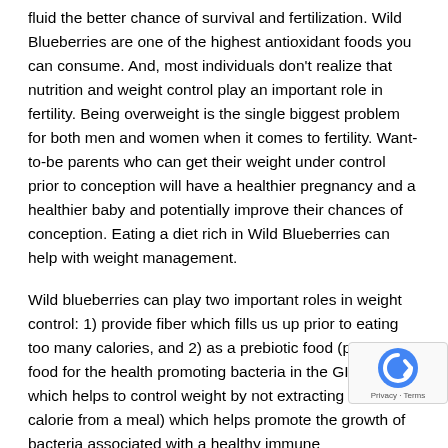fluid the better chance of survival and fertilization. Wild Blueberries are one of the highest antioxidant foods you can consume. And, most individuals don't realize that nutrition and weight control play an important role in fertility. Being overweight is the single biggest problem for both men and women when it comes to fertility. Want-to-be parents who can get their weight under control prior to conception will have a healthier pregnancy and a healthier baby and potentially improve their chances of conception. Eating a diet rich in Wild Blueberries can help with weight management.
Wild blueberries can play two important roles in weight control: 1) provide fiber which fills us up prior to eating too many calories, and 2) as a prebiotic food (providing food for the health promoting bacteria in the GI tract which helps to control weight by not extracting every last calorie from a meal) which helps promote the growth of bacteria associated with a healthy immune system/healthy weight/ lower levels of body wide inflammation. It's never too late and it's never too early to start following a healthier nutrition lifestyle.
Pre Pregnancy and Detoxing: Phytonutrients – found in Wild